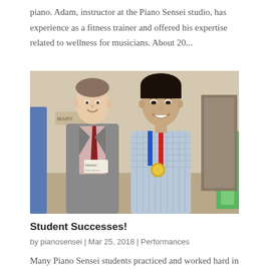piano. Adam, instructor at the Piano Sensei studio, has experience as a fitness trainer and offered his expertise related to wellness for musicians. About 20...
[Figure (photo): Two people posing for a photo indoors at what appears to be a formal event or competition. On the left is a tall adult man in a grey suit with a pink shirt and dark red tie, wearing a name tag that reads 'Director'. On the right is a young Asian boy wearing a blue and red medal/lanyard around his neck over a light blue checkered shirt. The background shows a hallway/lobby setting.]
Student Successes!
by pianosensei | Mar 25, 2018 | Performances
Many Piano Sensei students practiced and worked hard in